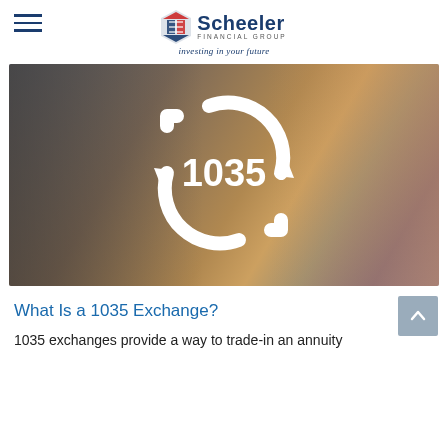Scheeler Financial Group — investing in your future
[Figure (photo): Hero image showing a person in athletic attire handing a bottle/baton, with a large white refresh/exchange icon overlay featuring the number 1035 in the center, representing a 1035 exchange concept.]
What Is a 1035 Exchange?
1035 exchanges provide a way to trade-in an annuity